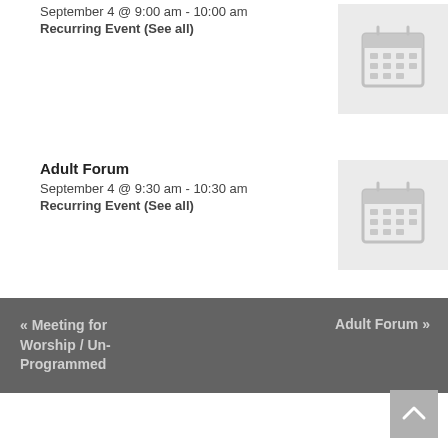September 4 @ 9:00 am - 10:00 am
Recurring Event (See all)
[Figure (illustration): Calendar icon placeholder (light grey background with grey calendar grid icon)]
Adult Forum
September 4 @ 9:30 am - 10:30 am
Recurring Event (See all)
[Figure (illustration): Calendar icon placeholder (light grey background with grey calendar grid icon)]
« Meeting for Worship / Un-Programmed
Adult Forum »